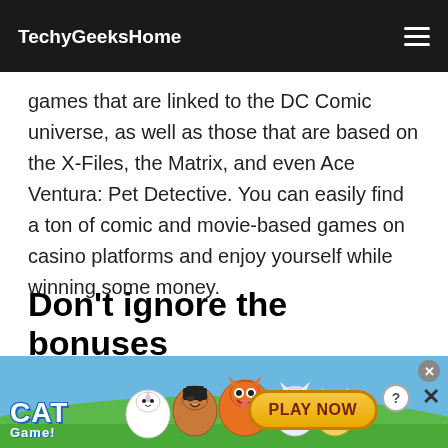TechyGeeksHome
that are designed to satisfy everyone's taste. For geeky people such as yourself, casinos offer games that are linked to the DC Comic universe, as well as those that are based on the X-Files, the Matrix, and even Ace Ventura: Pet Detective. You can easily find a ton of comic and movie-based games on casino platforms and enjoy yourself while winning some money.
Don't ignore the bonuses
Since there are a lot of casinos online, each of
[Figure (illustration): Cat Game mobile app advertisement banner at the bottom of the page, featuring cartoon cat characters on a green hill with blue sky background, a 'PLAY NOW' button, and close/help icons in the top right corner.]